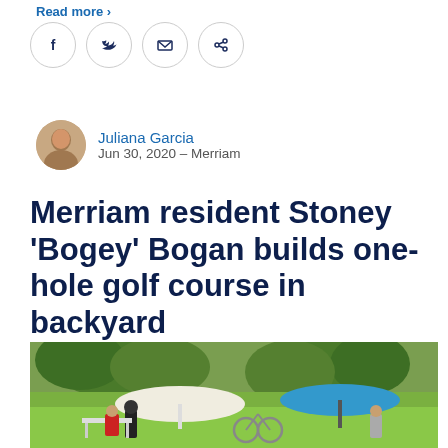Read more ›
[Figure (other): Social sharing icons: Facebook, Twitter, Email, Link]
Juliana Garcia
Jun 30, 2020 – Merriam
Merriam resident Stoney 'Bogey' Bogan builds one-hole golf course in backyard
[Figure (photo): Outdoor backyard scene with lush green grass and trees. In the foreground, people and bicycles are visible near a white tent-like structure and a blue patio umbrella.]